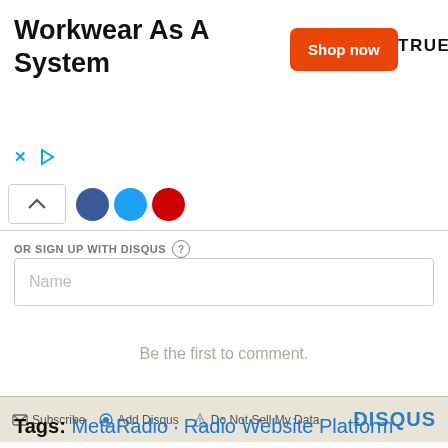[Figure (other): Advertisement banner: 'Workwear As A System' with orange 'Shop now' button and TRUEWERK brand logo. Ad close (x) and play icons at bottom left.]
OR SIGN UP WITH DISQUS
Name
Be the first to comment.
Subscribe   Add Disqus   Do Not Sell My Data   DISQUS
Tags: MetaRadio · Radio Website Platform